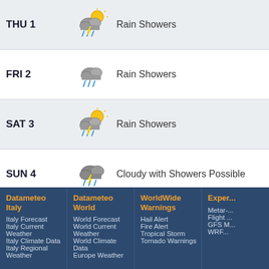| Day | Icon | Description |
| --- | --- | --- |
| THU 1 | [rain showers icon] | Rain Showers |
| FRI 2 | [rain showers icon] | Rain Showers |
| SAT 3 | [rain showers icon] | Rain Showers |
| SUN 4 | [cloudy showers icon] | Cloudy with Showers Possible |
| MON 5 | [rain showers icon] | Rain Showers |
| TUE 6 | [cloudy showers icon] | Cloudy with Showers Possible |
Updated: TUE 23 Aug
Datameteo Italy
Italy Forecast
Italy Current Weather
Italy Climate Data
Italy Regional Weather
Datameteo World
World Forecast
World Current Weather
World Climate Data
Europe Weather
WorldWide Warnings
Hail Alert
Fire Alert
Tropical Storm
Tornado Warnings
Exper...
Metar-...
Flight ...
GFS M...
WRF...